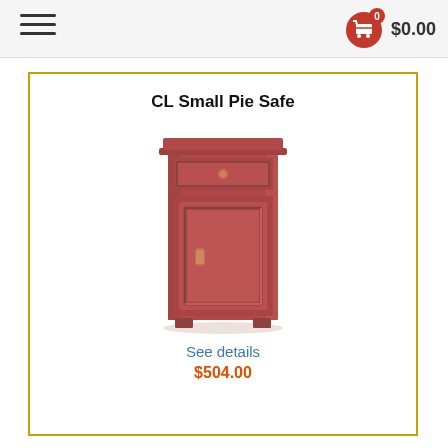$0.00
CL Small Pie Safe
[Figure (photo): A small reddish-brown wooden pie safe cabinet with one drawer on top and one paneled door below, standing on short legs. The finish is a muted terracotta/red color.]
See details
$504.00